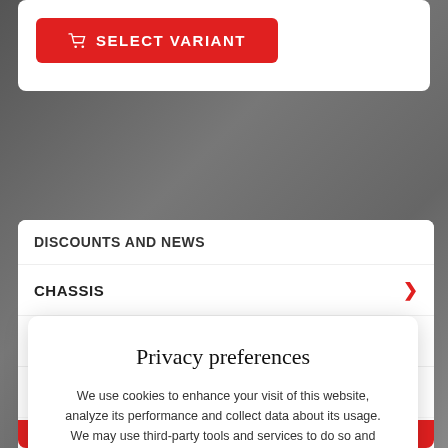[Figure (screenshot): Red SELECT VARIANT button with shopping cart icon on white card background]
DISCOUNTS AND NEWS
CHASSIS
BODY REINFORCEMENT
Privacy preferences
We use cookies to enhance your visit of this website, analyze its performance and collect data about its usage. We may use third-party tools and services to do so and collected data may get transmitted to partners in the EU, USA or other countries. By clicking on 'Accept all cookies' you declare your consent with this processing. You may find detailed information or adjust your preferences below.
Privacy declaration
Show details
Accept all cookies
ACCESSORIES AND MERCH